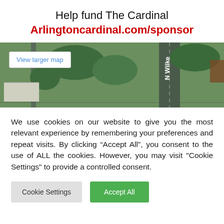Help fund The Cardinal
Arlingtoncardinal.com/sponsor
[Figure (map): Aerial/satellite map view showing N Wilke road and surrounding neighborhood with buildings and trees. Includes a 'View larger map' button overlay.]
We use cookies on our website to give you the most relevant experience by remembering your preferences and repeat visits. By clicking “Accept All”, you consent to the use of ALL the cookies. However, you may visit "Cookie Settings" to provide a controlled consent.
Cookie Settings   Accept All